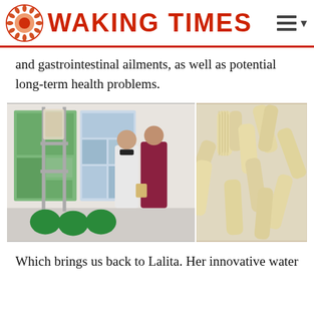WAKING TIMES
and gastrointestinal ailments, as well as potential long-term health problems.
[Figure (photo): Two women standing in front of a science fair display with filtration apparatus and green bags of materials, alongside a close-up photo of baby corn cobs.]
Which brings us back to Lalita. Her innovative water